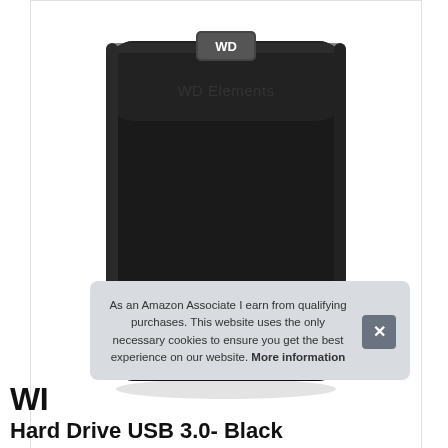[Figure (photo): WD Elements portable external hard drive, matte black finish with rounded corners, WD logo badge on top center, 'WD Elements' text printed on upper portion of the device]
As an Amazon Associate I earn from qualifying purchases. This website uses the only necessary cookies to ensure you get the best experience on our website. More information
WI
Hard Drive USB 3.0- Black